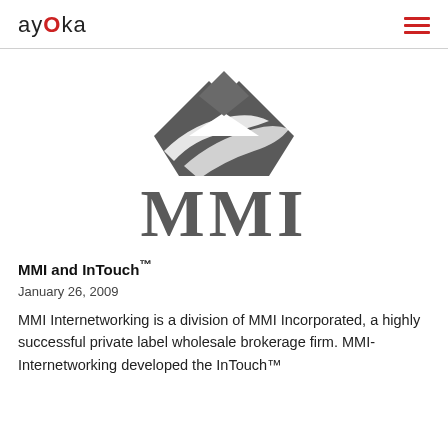ayoka
[Figure (logo): MMI logo: a grey stylized diamond/layered shape with a flowing ribbon-like design above the bold serif letters MMI]
MMI and InTouch™
January 26, 2009
MMI Internetworking is a division of MMI Incorporated, a highly successful private label wholesale brokerage firm. MMI-Internetworking developed the InTouch™